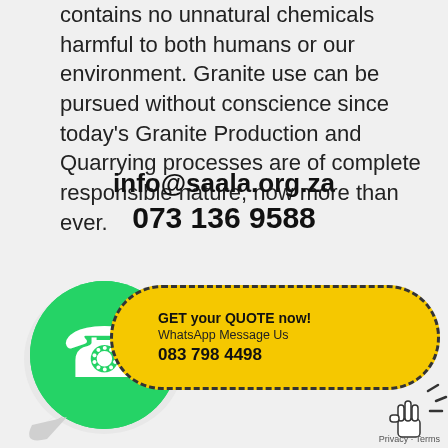contains no unnatural chemicals harmful to both humans or our environment. Granite use can be pursued without conscience since today's Granite Production and Quarrying processes are of complete responsible nature, now more than ever.
info@saala.org.za
073 136 9588
[Figure (logo): WhatsApp logo with green circle and white phone handset on a speech bubble, next to a yellow pill-shaped button with dashed border reading: GET your QUOTE now! WhatsApp Message Us 083 798 4498, and a cursor/hand icon pointing at it.]
Privacy · Terms